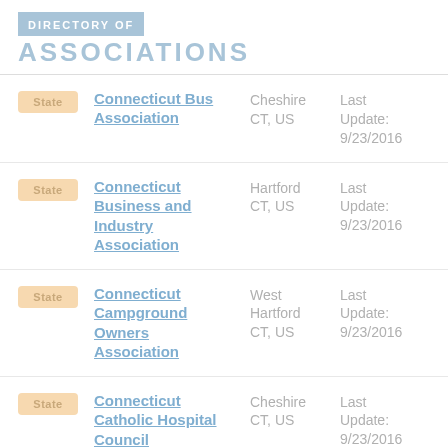DIRECTORY OF ASSOCIATIONS
Connecticut Bus Association | Cheshire CT, US | Last Update: 9/23/2016
Connecticut Business and Industry Association | Hartford CT, US | Last Update: 9/23/2016
Connecticut Campground Owners Association | West Hartford CT, US | Last Update: 9/23/2016
Connecticut Catholic Hospital Council | Cheshire CT, US | Last Update: 9/23/2016